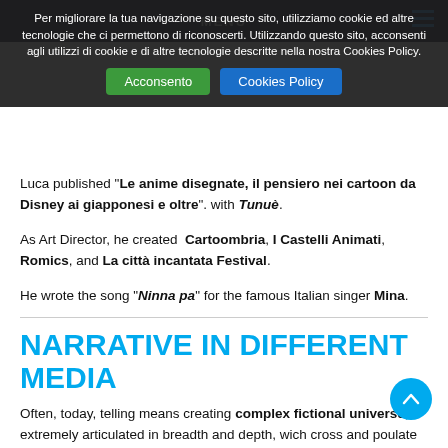MENU
Per migliorare la tua navigazione su questo sito, utilizziamo cookie ed altre tecnologie che ci permettono di riconoscerti. Utilizzando questo sito, acconsenti agli utilizzi di cookie e di altre tecnologie descritte nella nostra Cookies Policy.
Luca published "Le anime disegnate, il pensiero nei cartoon da Disney ai giapponesi e oltre". with Tunuè.
As Art Director, he created Cartoombria, I Castelli Animati, Romics, and La città incantata Festival.
He wrote the song "Ninna pa" for the famous Italian singer Mina.
NARRATIVE IN DIFFERENT MEDIA
Often, today, telling means creating complex fictional universe, extremely articulated in breadth and depth, wich cross and poulate different media. In this context, the role and perspective creative and audience change: both must take action to pursue a narrative